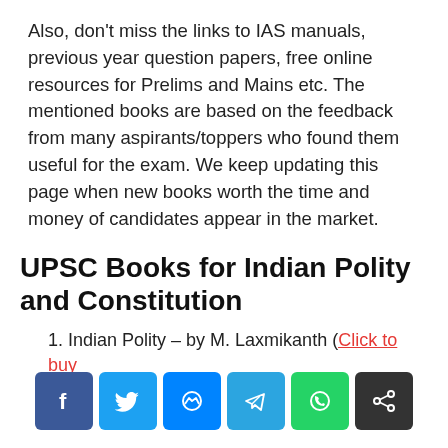Also, don't miss the links to IAS manuals, previous year question papers, free online resources for Prelims and Mains etc. The mentioned books are based on the feedback from many aspirants/toppers who found them useful for the exam. We keep updating this page when new books worth the time and money of candidates appear in the market.
UPSC Books for Indian Polity and Constitution
1. Indian Polity – by M. Laxmikanth (Click to buy
[Figure (infographic): Social sharing buttons: Facebook, Twitter, Messenger, Telegram, WhatsApp, Share]